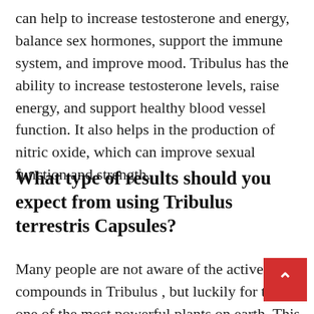can help to increase testosterone and energy, balance sex hormones, support the immune system, and improve mood. Tribulus has the ability to increase testosterone levels, raise energy, and support healthy blood vessel function. It also helps in the production of nitric oxide, which can improve sexual function and strength.
What type of results should you expect from using Tribulus terrestris Capsules?
Many people are not aware of the active compounds in Tribulus , but luckily for them one of the most powerful plants on earth. This